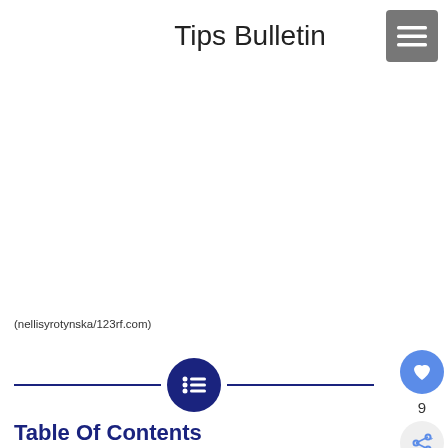Tips Bulletin
[Figure (other): Menu icon button (hamburger) in dark grey square on top right]
(nellisyrotynska/123rf.com)
[Figure (other): Dark navy blue circle with bullet list icon in center, flanked by horizontal navy divider lines]
[Figure (other): Blue heart button and share button on right sidebar with count 9]
Table Of Contents